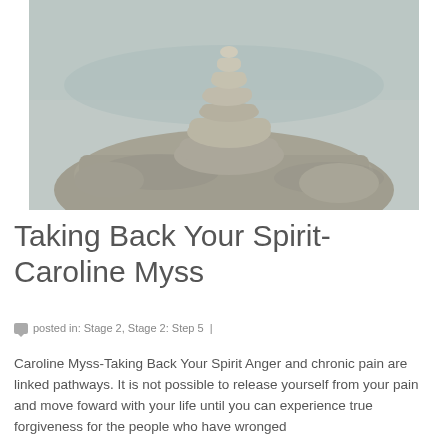[Figure (photo): Photo of stacked balanced rocks (cairn) on a larger rock, with a blurred natural background of water and greenery.]
Taking Back Your Spirit- Caroline Myss
posted in: Stage 2, Stage 2: Step 5 |
Caroline Myss-Taking Back Your Spirit Anger and chronic pain are linked pathways. It is not possible to release yourself from your pain and move foward with your life until you can experience true forgiveness for the people who have wronged